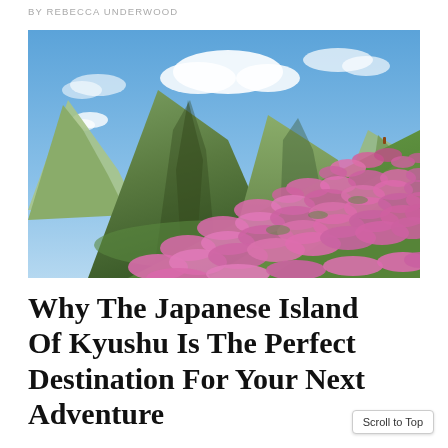BY REBECCA UNDERWOOD
[Figure (photo): Photograph of a lush green mountainous landscape under a blue sky with white clouds. Pink and magenta flowers (azaleas) cover the rolling hillside in the foreground, with large green peaks rising in the background. Likely Mount Kuju or similar Kyushu mountain scenery.]
Why The Japanese Island Of Kyushu Is The Perfect Destination For Your Next Adventure